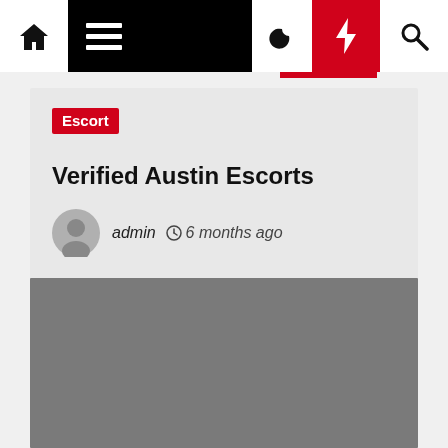Navigation bar with home, menu, moon, lightning, and search icons
Escort
Verified Austin Escorts
admin  6 months ago
[Figure (photo): Gray placeholder image block below the article header]